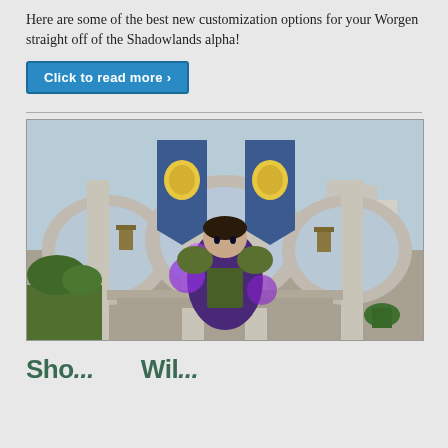Here are some of the best new customization options for your Worgen straight off of the Shadowlands alpha!
Click to read more >
[Figure (screenshot): World of Warcraft in-game screenshot showing a character in purple armor standing in front of Alliance banners in a stone courtyard]
Sho... Wil...